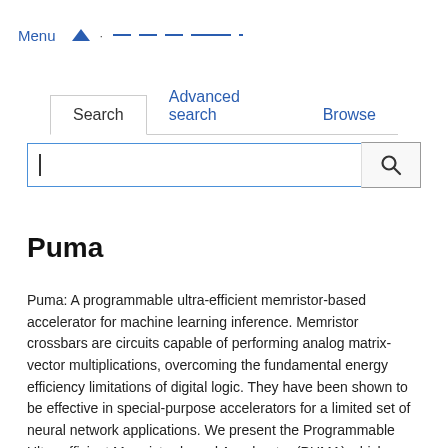Menu
Search | Advanced search | Browse
Puma
Puma: A programmable ultra-efficient memristor-based accelerator for machine learning inference. Memristor crossbars are circuits capable of performing analog matrix-vector multiplications, overcoming the fundamental energy efficiency limitations of digital logic. They have been shown to be effective in special-purpose accelerators for a limited set of neural network applications. We present the Programmable Ultra-efficient Memristor-based Accelerator (PUMA) which enhances memristor crossbars with general purpose execution units to enable the acceleration of a wide variety of Machine Learning (ML) inference workloads. PUMA's microarchitecture techniques exposed through a